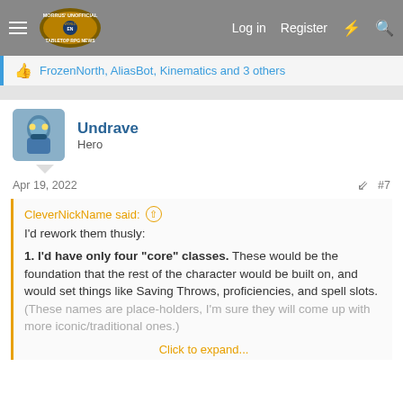Morrus' Unofficial Tabletop RPG News — Log in  Register
FrozenNorth, AliasBot, Kinematics and 3 others
Undrave
Hero
Apr 19, 2022  #7
CleverNickName said:
I'd rework them thusly:
1. I'd have only four "core" classes. These would be the foundation that the rest of the character would be built on, and would set things like Saving Throws, proficiencies, and spell slots. (These names are place-holders, I'm sure they will come up with more iconic/traditional ones.)
Click to expand...